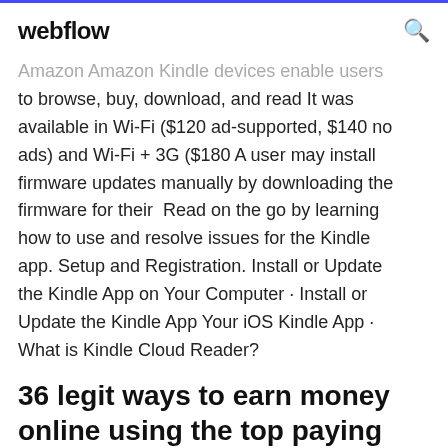webflow
Amazon Amazon Kindle devices enable users to browse, buy, download, and read It was available in Wi-Fi ($120 ad-supported, $140 no ads) and Wi-Fi + 3G ($180 A user may install firmware updates manually by downloading the firmware for their  Read on the go by learning how to use and resolve issues for the Kindle app. Setup and Registration. Install or Update the Kindle App on Your Computer · Install or Update the Kindle App Your iOS Kindle App · What is Kindle Cloud Reader?
36 legit ways to earn money online using the top paying